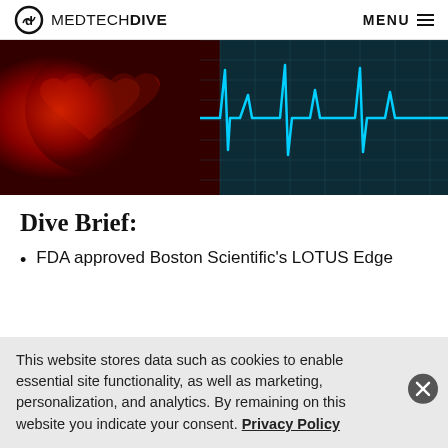MEDTECHDIVE   MENU
[Figure (illustration): Hero banner image showing a red anatomical heart on the left side and a glowing blue ECG/heartbeat waveform on a dark teal grid background on the right side.]
Dive Brief:
FDA approved Boston Scientific's LOTUS Edge
This website stores data such as cookies to enable essential site functionality, as well as marketing, personalization, and analytics. By remaining on this website you indicate your consent. Privacy Policy